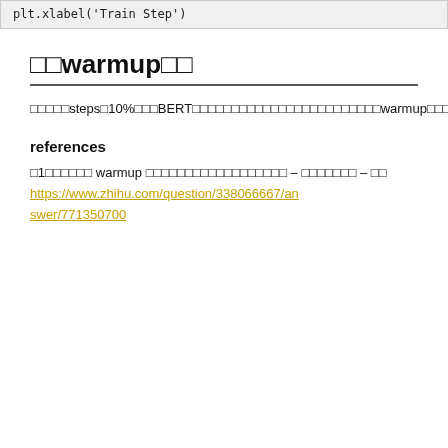plt.xlabel('Train Step')
□□warmup□□
□□□□□steps□10%□□□BERT□□□□□□□□□□□□□□□□□□□□□□□□warmup□□□□□□□□□□□□□□□□□□□□□□□□□□□□□□□□□□□□□loss□□□□□□□□□□□□□□□□□[4]
references
□1□□□□□□ warmup □□□□□□□□□□□□□□□□□□ – □□□□□□□ – □□ https://www.zhihu.com/question/338066667/an swer/771350700